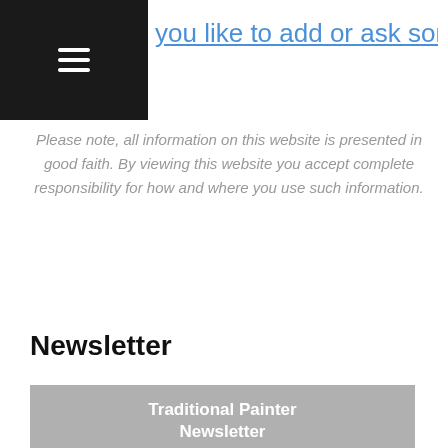≡
you like to add or ask something?
Please note, all information on this website is presented in good faith. By viewing this website you accept complete responsibility for how and where you use such information.
Newsletter
Traditional Painter Newsletter
Fill in your details to sign up to our newsletter
Name
[Name field]
Email Address
[Email field]
Painter Background
[Dropdown]